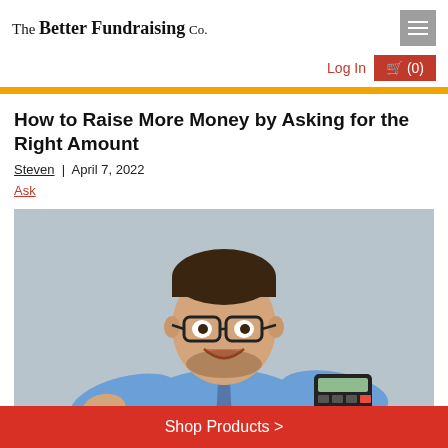The Better Fundraising Co.
Log In
(0)
How to Raise More Money by Asking for the Right Amount
Steven | April 7, 2022
Ask
[Figure (photo): Smiling businessman with glasses holding a calculator, pointing at camera, against grey background]
Shop Products >